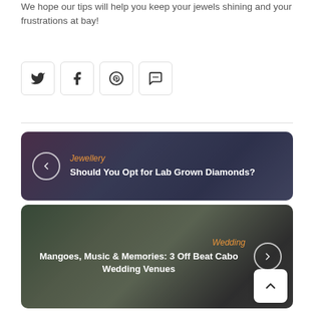We hope our tips will help you keep your jewels shining and your frustrations at bay!
[Figure (infographic): Social share buttons: Twitter, Facebook, Pinterest, Comment]
[Figure (infographic): Navigation card with jewellery ring background image, back arrow, category label 'Jewellery' in orange italic, and title 'Should You Opt for Lab Grown Diamonds?']
[Figure (infographic): Navigation card with wedding photo background, category label 'Wedding' in orange italic, title 'Mangoes, Music & Memories: 3 Off Beat Cabo Wedding Venues', forward arrow, and scroll-to-top button]